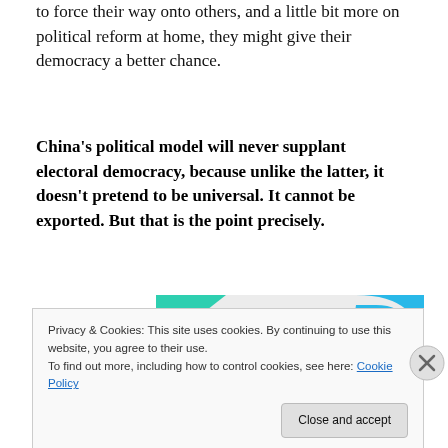to force their way onto others, and a little bit more on political reform at home, they might give their democracy a better chance.
China's political model will never supplant electoral democracy, because unlike the latter, it doesn't pretend to be universal. It cannot be exported. But that is the point precisely.
[Figure (other): Advertisement banner with teal triangle on upper left and blue curved shape on right, text reads 'How to start selling subscriptions online']
Privacy & Cookies: This site uses cookies. By continuing to use this website, you agree to their use.
To find out more, including how to control cookies, see here: Cookie Policy
Close and accept